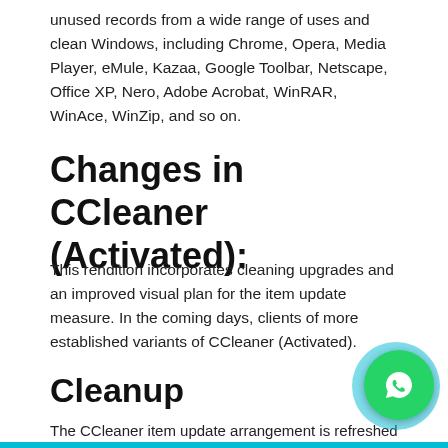unused records from a wide range of uses and clean Windows, including Chrome, Opera, Media Player, eMule, Kazaa, Google Toolbar, Netscape, Office XP, Nero, Adobe Acrobat, WinRAR, WinAce, WinZip, and so on.
Changes in CCleaner (Activated):
This rendition incorporates cleaning upgrades and an improved visual plan for the item update measure. In the coming days, clients of more established variants of CCleaner (Activated).
Cleanup
The CCleaner item update arrangement is refreshed with a visual plan to make it easier for users. Fixed a bug because of which the framework plate symbol was shown when it ought not. Fixed an uncommon bug that caused update notices to seem when they shouldn't.